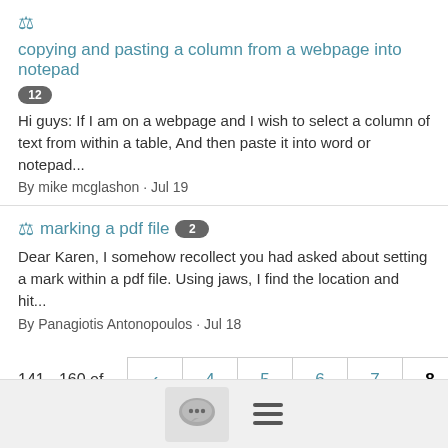copying and pasting a column from a webpage into notepad 12
Hi guys: If I am on a webpage and I wish to select a column of text from within a table, And then paste it into word or notepad...
By mike mcglashon · Jul 19
marking a pdf file 2
Dear Karen, I somehow recollect you had asked about setting a mark within a pdf file. Using jaws, I find the location and hit...
By Panagiotis Antonopoulos · Jul 18
141 - 160 of 19117
< 4 5 6 7 8 9 10 11 12 >